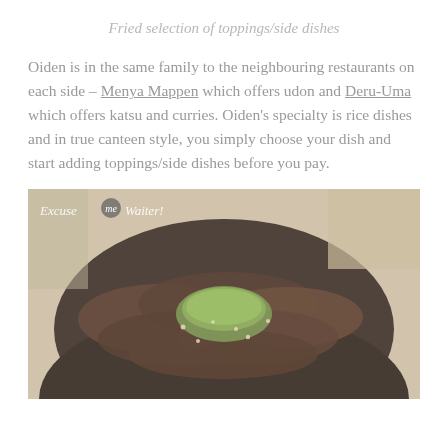Fried selection of toppings/side dishes
Oiden is in the same family to the neighbouring restaurants on each side – Menya Mappen which offers udon and Deru-Uma which offers katsu and curries. Oiden's specialty is rice dishes and in true canteen style, you simply choose your dish and start adding toppings/side dishes before you pay.
[Figure (photo): Photo of a Japanese rice bowl dish (donburi) with sliced beef, green onions, sesame seeds, served in a dark bowl. Watermark reads 'Excuse me Waiter!' with a circular logo.]